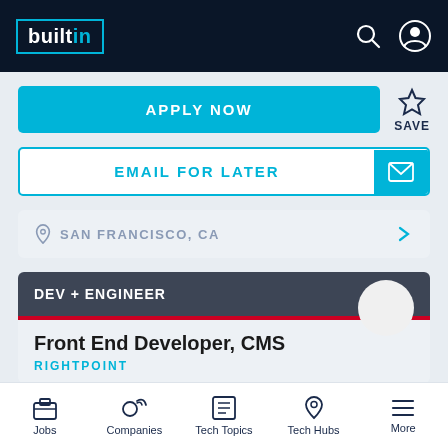builtin — navigation header with search and account icons
APPLY NOW
SAVE
EMAIL FOR LATER
SAN FRANCISCO, CA
DEV + ENGINEER
Front End Developer, CMS
RIGHTPOINT
Jobs | Companies | Tech Topics | Tech Hubs | More